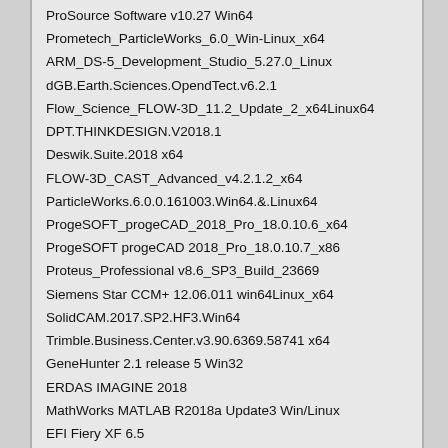ProSource Software v10.27 Win64
Prometech_ParticleWorks_6.0_Win-Linux_x64
ARM_DS-5_Development_Studio_5.27.0_Linux
dGB.Earth.Sciences.OpendTect.v6.2.1
Flow_Science_FLOW-3D_11.2_Update_2_x64Linux64
DPT.THINKDESIGN.V2018.1
Deswik.Suite.2018 x64
FLOW-3D_CAST_Advanced_v4.2.1.2_x64
ParticleWorks.6.0.0.161003.Win64.&.Linux64
ProgeSOFT_progeCAD_2018_Pro_18.0.10.6_x64
ProgeSOFT progeCAD 2018_Pro_18.0.10.7_x86
Proteus_Professional v8.6_SP3_Build_23669
Siemens Star CCM+ 12.06.011 win64Linux_x64
SolidCAM.2017.SP2.HF3.Win64
Trimble.Business.Center.v3.90.6369.58741 x64
GeneHunter 2.1 release 5 Win32
ERDAS IMAGINE 2018
MathWorks MATLAB R2018a Update3 Win/Linux
EFI Fiery XF 6.5
OkMap Desktop 13.10.1
Schlumberger petromod v2017
B&K.TEST.for.IDEAS.6.6.R1.Win
Procam Diensnions v5.4
MindCAD 2017
Blue.Marble.Global.Mapper.v19.1.0 x32x64